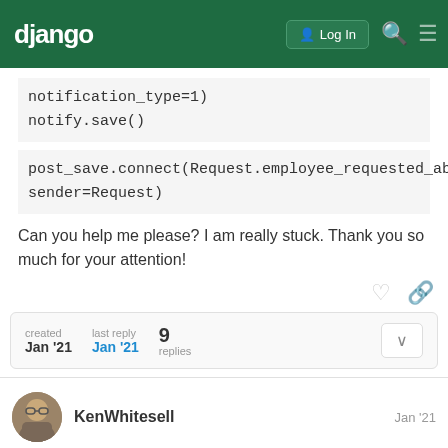django | Log In
notification_type=1)
notify.save()
post_save.connect(Request.employee_requested_absence, sender=Request)
Can you help me please? I am really stuck. Thank you so much for your attention!
created Jan '21  last reply Jan '21  9 replies
KenWhitesell  Jan '21
First, when posting code in this forum, plea...
1 / 10